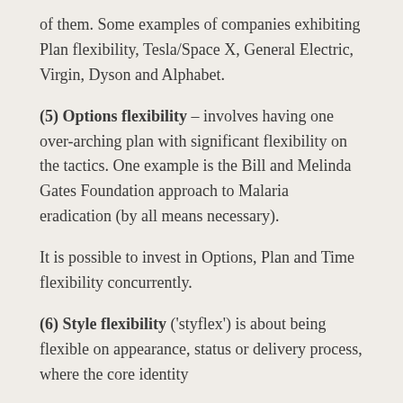of them. Some examples of companies exhibiting Plan flexibility, Tesla/Space X, General Electric, Virgin, Dyson and Alphabet.
(5) Options flexibility – involves having one over-arching plan with significant flexibility on the tactics. One example is the Bill and Melinda Gates Foundation approach to Malaria eradication (by all means necessary).
It is possible to invest in Options, Plan and Time flexibility concurrently.
(6) Style flexibility ('styflex') is about being flexible on appearance, status or delivery process, where the core identity